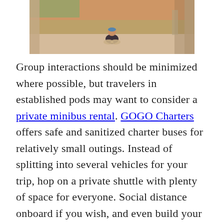[Figure (photo): A person sitting cross-legged on a wide outdoor plaza or steps, viewed from behind, wearing a dark shirt and a blue hat, at sunset with warm golden light.]
Group interactions should be minimized where possible, but travelers in established pods may want to consider a private minibus rental. GOGO Charters offers safe and sanitized charter buses for relatively small outings. Instead of splitting into several vehicles for your trip, hop on a private shuttle with plenty of space for everyone. Social distance onboard if you wish, and even build your own additional sanitization and